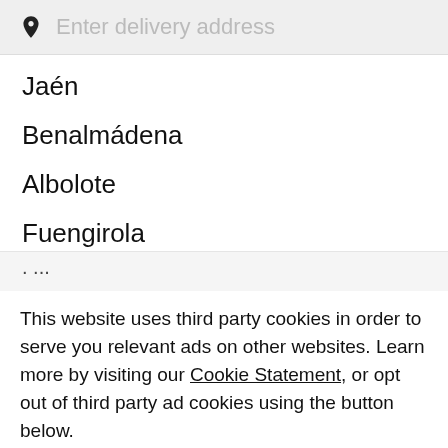Enter delivery address
Jaén
Benalmádena
Albolote
Fuengirola
· ...
This website uses third party cookies in order to serve you relevant ads on other websites. Learn more by visiting our Cookie Statement, or opt out of third party ad cookies using the button below.
Opt out
Got it